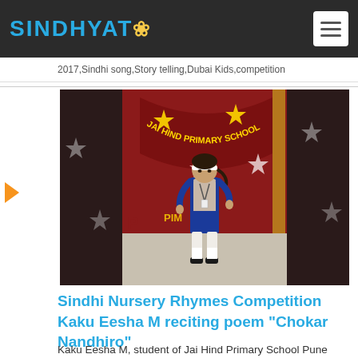SINDHYAT (logo with flower icon)
2017,Sindhi song,Story telling,Dubai Kids,competition
[Figure (photo): A young girl in a blue school uniform with a white headband standing in front of a 'Jai Hind Primary School' banner decorated with stars]
Sindhi Nursery Rhymes Competition Kaku Eesha M reciting poem "Chokar Nandhiro"
Kaku Eesha M, student of Jai Hind Primary School Pune participated in our 3rd International Sindhi Nursery Rhymes